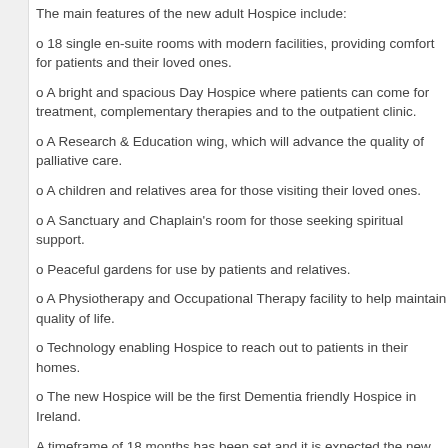The main features of the new adult Hospice include:
o 18 single en-suite rooms with modern facilities, provi... ones.
o A bright and spacious Day Hospice where patients ca... to the outpatient clinic.
o A Research & Education wing, which will advance the...
o A children and relatives area for those visiting their lo...
o A Sanctuary and Chaplain's room for those seeking s...
o Peaceful gardens for use by patients and relatives.
o A Physiotherapy and Occupational Therapy facility to...
o Technology enabling Hospice to reach out to patients...
o The new Hospice will be the first Dementia friendly H...
A timeframe of 18 months has been set and it is expec... operational in late 2015.
In the interim, the adult Hospice is currently operating f... (17 beds).
Local architects Consarc Design Group designed the n...